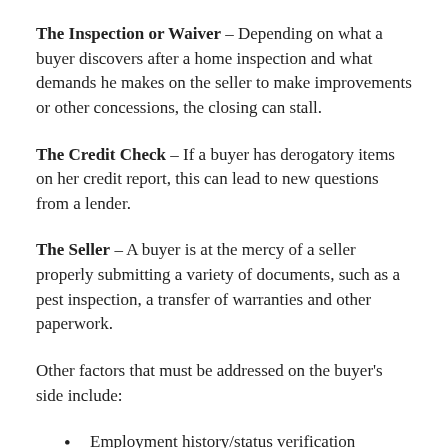The Inspection or Waiver – Depending on what a buyer discovers after a home inspection and what demands he makes on the seller to make improvements or other concessions, the closing can stall.
The Credit Check – If a buyer has derogatory items on her credit report, this can lead to new questions from a lender.
The Seller – A buyer is at the mercy of a seller properly submitting a variety of documents, such as a pest inspection, a transfer of warranties and other paperwork.
Other factors that must be addressed on the buyer’s side include:
Employment history/status verification
Financial status (bank statements, tax returns,